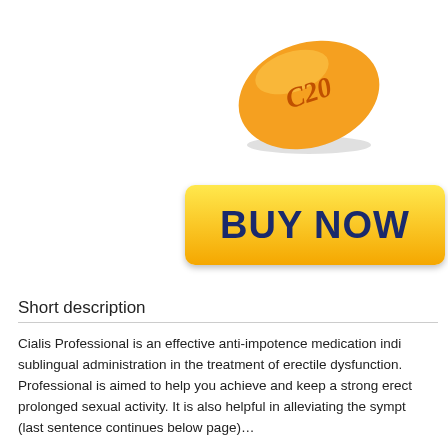[Figure (photo): Orange oval pill/tablet with 'C20' imprinted on it, shown at an angle with a subtle shadow beneath it.]
[Figure (other): Yellow gradient 'BUY NOW' button with dark navy bold text, rounded rectangle shape.]
Short description
Cialis Professional is an effective anti-impotence medication indi... sublingual administration in the treatment of erectile dysfunction... Professional is aimed to help you achieve and keep a strong erect... prolonged sexual activity. It is also helpful in alleviating the sympt... (last sentence cut at bottom of page)